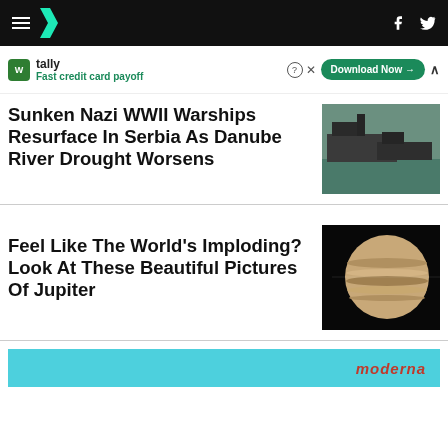HuffPost navigation header
tally - Fast credit card payoff - Download Now
Sunken Nazi WWII Warships Resurface In Serbia As Danube River Drought Worsens
[Figure (photo): Aerial view of sunken WWII warships on the Danube river in Serbia]
Feel Like The World's Imploding? Look At These Beautiful Pictures Of Jupiter
[Figure (photo): Close-up photograph of Jupiter showing its bands and atmosphere against black space]
[Figure (logo): Moderna logo on teal background advertisement banner]